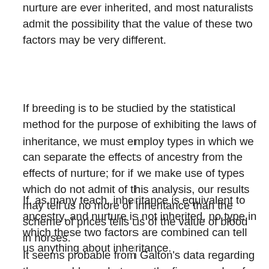nurture are ever inherited, and most naturalists admit the possibility that the value of these two factors may be very different.
If breeding is to be studied by the statistical method for the purpose of exhibiting the laws of inheritance, we must employ types in which we can separate the effects of ancestry from the effects of nurture; for if we make use of types which do not admit of this analysis, our results may tell us no more of inheritance than the scheme of prices tells us of the value of blood in horses.
If, as many teach, inheritance is equivalent to ancestry, and nurture is not inherited, no type in which these two factors are combined can tell us anything about inheritance.
It seems probable from Galton's data regarding the resemblance between the finger marks of fraternal